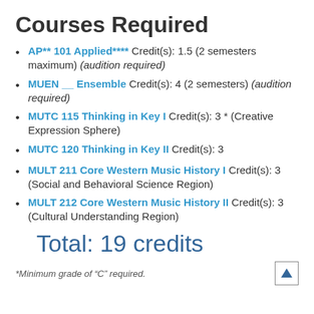Courses Required
AP** 101 Applied**** Credit(s): 1.5 (2 semesters maximum) (audition required)
MUEN __ Ensemble Credit(s): 4 (2 semesters) (audition required)
MUTC 115 Thinking in Key I Credit(s): 3 * (Creative Expression Sphere)
MUTC 120 Thinking in Key II Credit(s): 3
MULT 211 Core Western Music History I Credit(s): 3 (Social and Behavioral Science Region)
MULT 212 Core Western Music History II Credit(s): 3 (Cultural Understanding Region)
Total: 19 credits
*Minimum grade of “C” required.